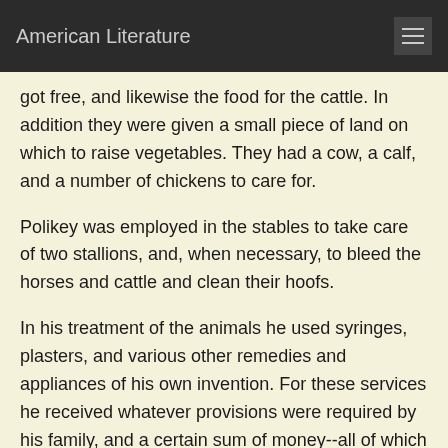American Literature
got free, and likewise the food for the cattle. In addition they were given a small piece of land on which to raise vegetables. They had a cow, a calf, and a number of chickens to care for.
Polikey was employed in the stables to take care of two stallions, and, when necessary, to bleed the horses and cattle and clean their hoofs.
In his treatment of the animals he used syringes, plasters, and various other remedies and appliances of his own invention. For these services he received whatever provisions were required by his family, and a certain sum of money--all of which would have been sufficient to enable them to live comfortably